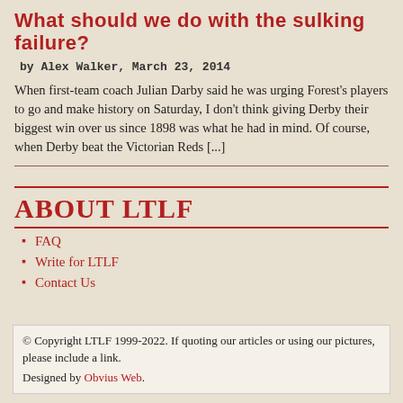What should we do with the sulking failure?
by Alex Walker, March 23, 2014
When first-team coach Julian Darby said he was urging Forest's players to go and make history on Saturday, I don't think giving Derby their biggest win over us since 1898 was what he had in mind. Of course, when Derby beat the Victorian Reds [...]
ABOUT LTLF
FAQ
Write for LTLF
Contact Us
© Copyright LTLF 1999-2022. If quoting our articles or using our pictures, please include a link. Designed by Obvius Web.